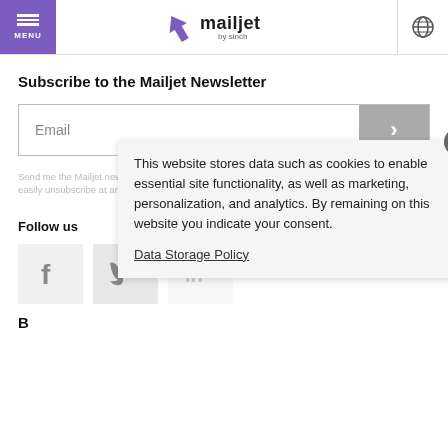MENU | mailjet by sinch
Subscribe to the Mailjet Newsletter
Email
Send me the Mailjet newsletter. I expressly agree to receive the newsletter and know that I can easily unsubscribe at any time.
Follow us
This website stores data such as cookies to enable essential site functionality, as well as marketing, personalization, and analytics. By remaining on this website you indicate your consent.
Data Storage Policy